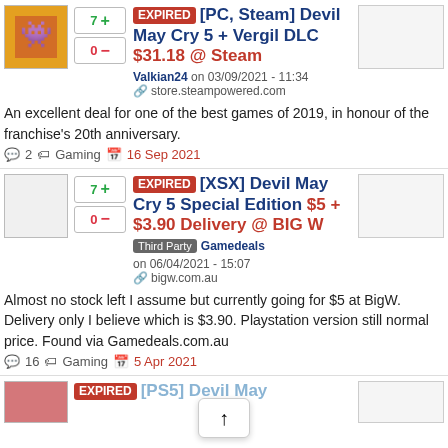EXPIRED [PC, Steam] Devil May Cry 5 + Vergil DLC $31.18 @ Steam
Valkian24 on 03/09/2021 - 11:34
store.steampowered.com
An excellent deal for one of the best games of 2019, in honour of the franchise's 20th anniversary.
2   Gaming   16 Sep 2021
EXPIRED [XSX] Devil May Cry 5 Special Edition $5 + $3.90 Delivery @ BIG W
Third Party  Gamedeals on 06/04/2021 - 15:07
bigw.com.au
Almost no stock left I assume but currently going for $5 at BigW. Delivery only I believe which is $3.90. Playstation version still normal price. Found via Gamedeals.com.au
16   Gaming   5 Apr 2021
EXPIRED [PS5] Devil May